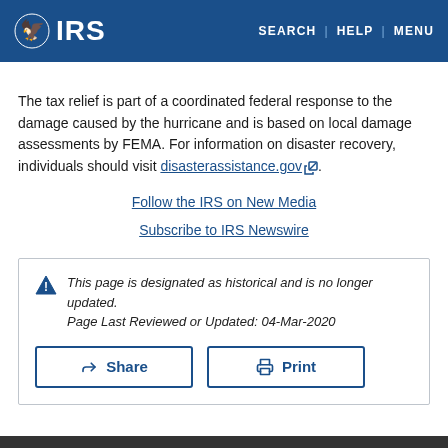IRS | SEARCH | HELP | MENU
The tax relief is part of a coordinated federal response to the damage caused by the hurricane and is based on local damage assessments by FEMA. For information on disaster recovery, individuals should visit disasterassistance.gov.
Follow the IRS on New Media
Subscribe to IRS Newswire
This page is designated as historical and is no longer updated. Page Last Reviewed or Updated: 04-Mar-2020